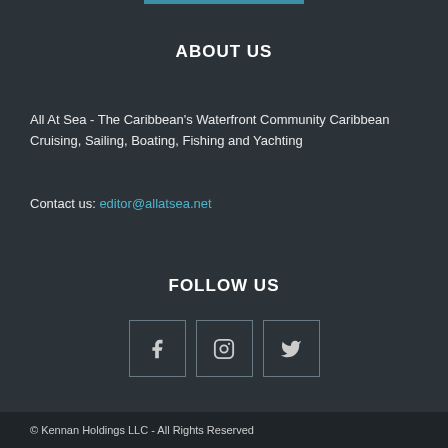ABOUT US
All At Sea - The Caribbean's Waterfront Community Caribbean Cruising, Sailing, Boating, Fishing and Yachting
Contact us: editor@allatsea.net
FOLLOW US
[Figure (infographic): Three social media icon buttons for Facebook, Instagram, and Twitter]
© Kennan Holdings LLC - All Rights Reserved